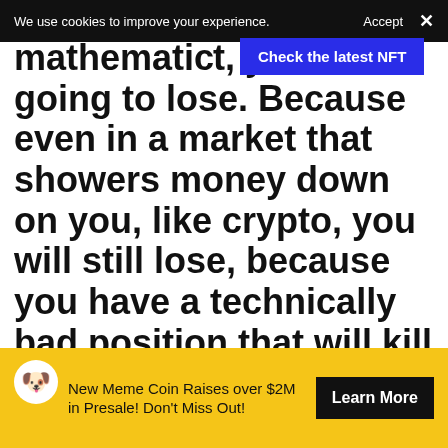We use cookies to improve your experience.   Accept  ×
[Figure (screenshot): Blue NFT promotional banner overlay: 'Check the latest NFT']
mathemati... t, you are going to lose. Because even in a market that showers money down on you, like crypto, you will still lose, because you have a technically bad position that will kill you. If you don't understand that, you are going to lose."
New Meme Coin Raises over $2M in Presale! Don't Miss Out!   Learn More